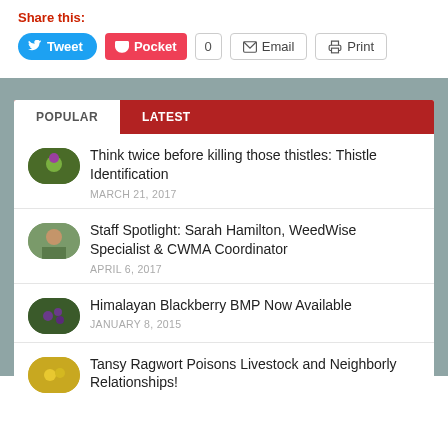Share this:
Tweet | Pocket | 0 | Email | Print
POPULAR | LATEST
Think twice before killing those thistles: Thistle Identification
MARCH 21, 2017
Staff Spotlight: Sarah Hamilton, WeedWise Specialist & CWMA Coordinator
APRIL 6, 2017
Himalayan Blackberry BMP Now Available
JANUARY 8, 2015
Tansy Ragwort Poisons Livestock and Neighborly Relationships!